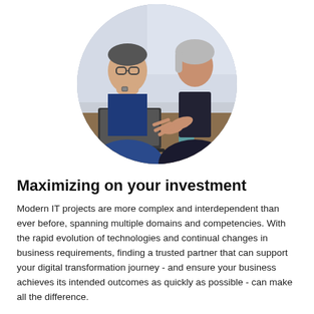[Figure (photo): Circular cropped photo of two business professionals — a man in a blue suit with glasses resting his chin on his hands, and a woman in a dark top gesturing with her hands — sitting at a table with a laptop, having a discussion in an office setting.]
Maximizing on your investment
Modern IT projects are more complex and interdependent than ever before, spanning multiple domains and competencies. With the rapid evolution of technologies and continual changes in business requirements, finding a trusted partner that can support your digital transformation journey - and ensure your business achieves its intended outcomes as quickly as possible - can make all the difference.